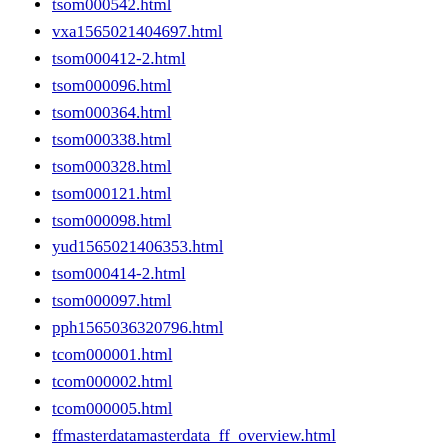tsom000542.html
vxa1565021404697.html
tsom000412-2.html
tsom000096.html
tsom000364.html
tsom000338.html
tsom000328.html
tsom000121.html
tsom000098.html
yud1565021406353.html
tsom000414-2.html
tsom000097.html
pph1565036320796.html
tcom000001.html
tcom000002.html
tcom000005.html
ffmasterdatamasterdata_ff_overview.html
ffcrmcrm_ff_overview.html
ffcrmcrm_ff_master_data.html
ffcrmcrm_ff_marketing_sales_utilities.html
ffsalessales_ff_overview.html
ffsalessales_ff_master_data.html
ffsalessales_ff_quotations.html
ffsalessales_ff_orders.html
ffsalessales_ff_contracts.html